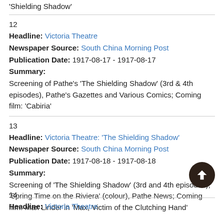'Shielding Shadow'
12
Headline: Victoria Theatre
Newspaper Source: South China Morning Post
Publication Date: 1917-08-17 - 1917-08-17
Summary:
Screening of Pathe's 'The Shielding Shadow' (3rd & 4th episodes), Pathe's Gazettes and Various Comics; Coming film: 'Cabiria'
13
Headline: Victoria Theatre: 'The Shielding Shadow'
Newspaper Source: South China Morning Post
Publication Date: 1917-08-18 - 1917-08-18
Summary:
Screening of 'The Shielding Shadow' (3rd and 4th episodes), 'Spring Time on the Riviera' (colour), Pathe News; Coming film: Max Linder in 'Max, Victim of the Clutching Hand'
14
Headline: Victoria Theatre